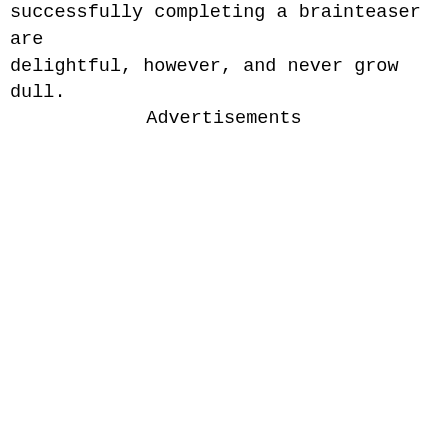successfully completing a brainteaser are delightful, however, and never grow dull.
Advertisements